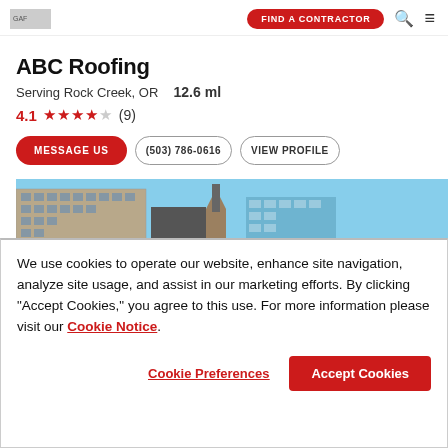GAF — FIND A CONTRACTOR
ABC Roofing
Serving Rock Creek, OR   12.6 ml
4.1 ★★★★☆ (9)
MESSAGE US  (503) 786-0616  VIEW PROFILE
[Figure (photo): Skyline photo showing city buildings and tower against blue sky]
We use cookies to operate our website, enhance site navigation, analyze site usage, and assist in our marketing efforts. By clicking "Accept Cookies," you agree to this use. For more information please visit our Cookie Notice.
Cookie Preferences   Accept Cookies